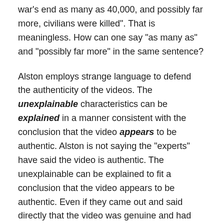war's end as many as 40,000, and possibly far more, civilians were killed". That is meaningless. How can one say "as many as" and "possibly far more" in the same sentence?
Alston employs strange language to defend the authenticity of the videos. The unexplainable characteristics can be explained in a manner consistent with the conclusion that the video appears to be authentic. Alston is not saying the "experts" have said the video is authentic. The unexplainable can be explained to fit a conclusion that the video appears to be authentic. Even if they came out and said directly that the video was genuine and had not been tampered with, this is not proof that it shows Sri Lankan soldiers killing Tamils.
IDP Camps